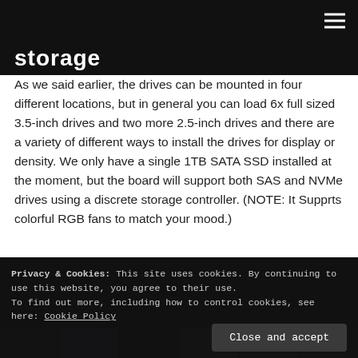storage
As we said earlier, the drives can be mounted in four different locations, but in general you can load 6x full sized 3.5-inch drives and two more 2.5-inch drives and there are a variety of different ways to install the drives for display or density. We only have a single 1TB SATA SSD installed at the moment, but the board will support both SAS and NVMe drives using a discrete storage controller. (NOTE: It Supprts colorful RGB fans to match your mood.)
[Figure (photo): Dark background photo area with RGB-lit computer components visible at the bottom strip, overlaid by a cookie consent banner.]
Privacy & Cookies: This site uses cookies. By continuing to use this website, you agree to their use.
To find out more, including how to control cookies, see here: Cookie Policy
Close and accept